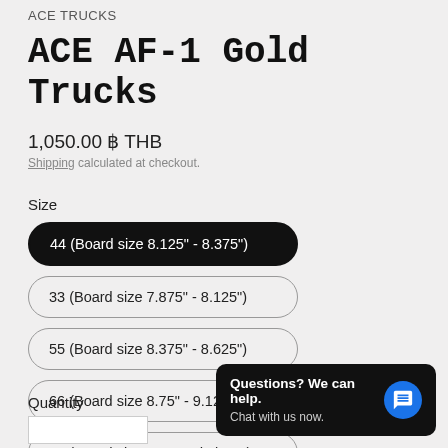ACE TRUCKS
ACE AF-1 Gold Trucks
1,050.00 ฿ THB
Shipping calculated at checkout.
Size
44 (Board size 8.125" - 8.375")
33 (Board size 7.875" - 8.125")
55 (Board size 8.375" - 8.625")
66 (Board size 8.75" - 9.125")
77 (Board size 9.25 and above)
Quantity
Questions? We can help. Chat with us now.